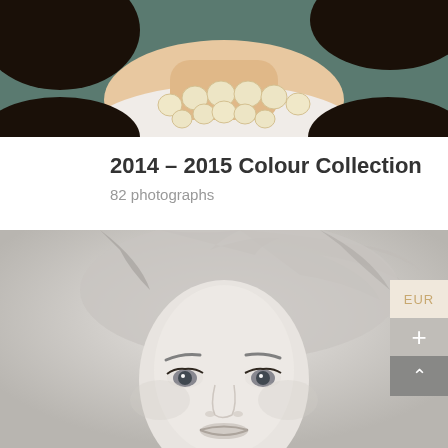[Figure (photo): Cropped photo of woman wearing pearl necklace and white blouse, visible from chin to shoulders, teal background]
2014 – 2015 Colour Collection
82 photographs
[Figure (photo): Black and white portrait of a blonde woman with tousled hair looking directly at camera, close-up face shot]